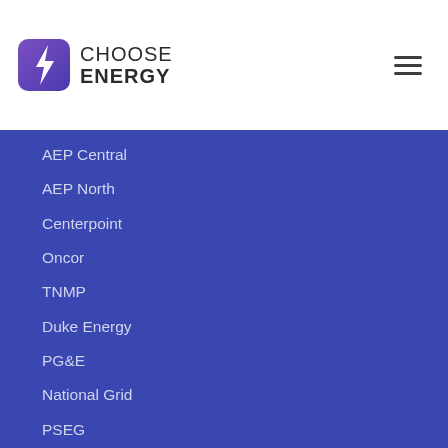[Figure (logo): Choose Energy logo with lightning bolt icon in purple square and text CHOOSE ENERGY]
AEP Central
AEP North
Centerpoint
Oncor
TNMP
Duke Energy
PG&E
National Grid
PSEG
Commonwealth Edison
AEP Ohio
Columbia Gas
Con Edison